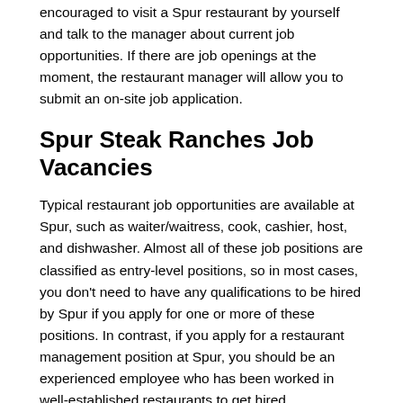encouraged to visit a Spur restaurant by yourself and talk to the manager about current job opportunities. If there are job openings at the moment, the restaurant manager will allow you to submit an on-site job application.
Spur Steak Ranches Job Vacancies
Typical restaurant job opportunities are available at Spur, such as waiter/waitress, cook, cashier, host, and dishwasher. Almost all of these job positions are classified as entry-level positions, so in most cases, you don't need to have any qualifications to be hired by Spur if you apply for one or more of these positions. In contrast, if you apply for a restaurant management position at Spur, you should be an experienced employee who has been worked in well-established restaurants to get hired.
Spur Steak Ranches Job Application Form PDF